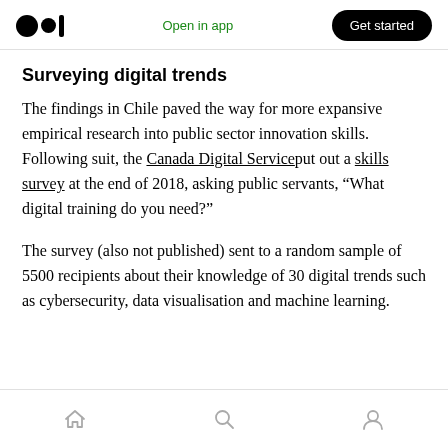Open in app  Get started
Surveying digital trends
The findings in Chile paved the way for more expansive empirical research into public sector innovation skills. Following suit, the Canada Digital Service put out a skills survey at the end of 2018, asking public servants, “What digital training do you need?”
The survey (also not published) sent to a random sample of 5500 recipients about their knowledge of 30 digital trends such as cybersecurity, data visualisation and machine learning.
Home  Search  Profile